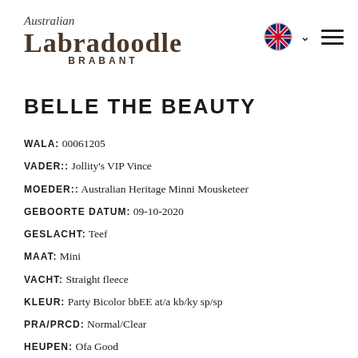Australian Labradoodle Brabant
BELLE THE BEAUTY
Wala: 00061205
Vader:: Jollity's VIP Vince
Moeder:: Australian Heritage Minni Mousketeer
Geboorte datum: 09-10-2020
Geslacht: Teef
Maat: Mini
Vacht: Straight fleece
Kleur: Party Bicolor bbEE at/a kb/ky sp/sp
PRA/PRCD: Normal/Clear
Heupen: Ofa Good
Elleboog: Ofa Normal